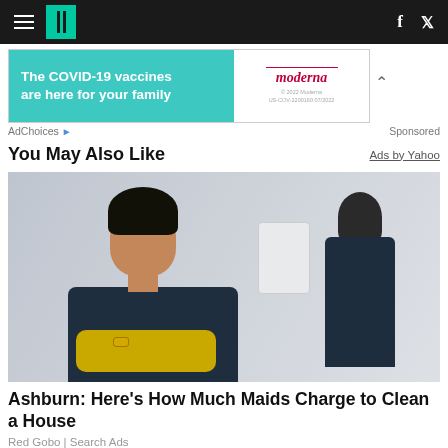HuffPost navigation bar with hamburger menu, logo, Facebook and Twitter icons
[Figure (infographic): Moderna COVID-19 vaccine advertisement banner: teal background with text 'The COVID-19 vaccines are here for your family' and Moderna logo on white right panel]
AdChoices ▶   Sponsored
You May Also Like
Ads by Yahoo
[Figure (photo): Photo of two women in dark scrubs in a clean room; foreground woman smiling at camera with arms crossed wearing yellow rubber gloves; second woman visible in background facing away]
Ashburn: Here's How Much Maids Charge to Clean a House
Red Gobo | Search Ads